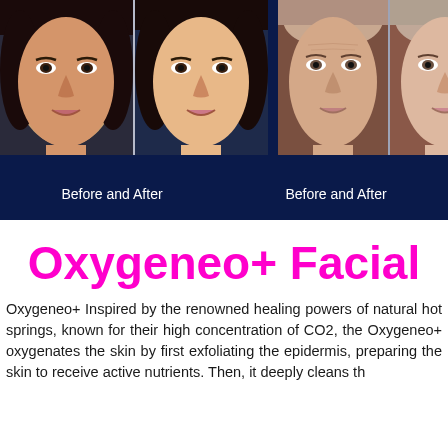[Figure (photo): Two before-and-after facial treatment photos side by side on dark navy background, showing women's faces before and after a treatment]
Before and After
Before and After
Oxygeneo+ Facial
Oxygeneo+ Inspired by the renowned healing powers of natural hot springs, known for their high concentration of CO2, the Oxygeneo+ oxygenates the skin by first exfoliating the epidermis, preparing the skin to receive active nutrients. Then, it deeply cleans the